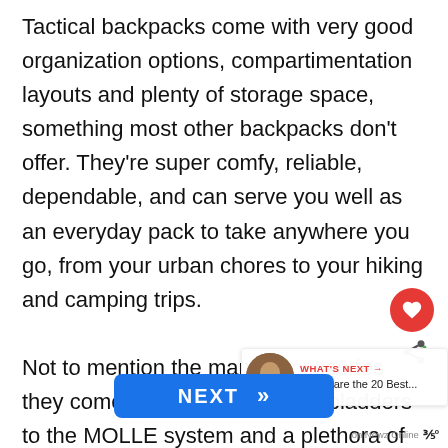Tactical backpacks come with very good organization options, compartimentation layouts and plenty of storage space, something most other backpacks don't offer. They're super comfy, reliable, dependable, and can serve you well as an everyday pack to take anywhere you go, from your urban chores to your hiking and camping trips.

Not to mention the many accessories they come with, from hydration bladders to the MOLLE system and a plethora of useful pockets and straps securing your gear both inside and on the outside of the pack. Th... onceived for...